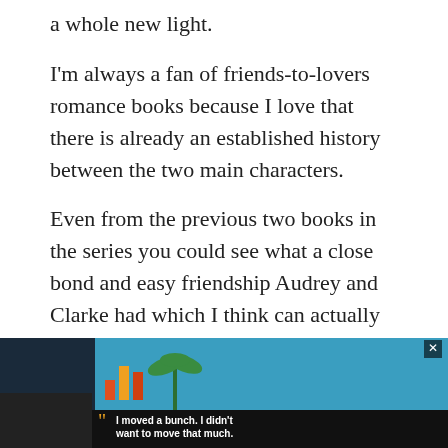a whole new light.
I'm always a fan of friends-to-lovers romance books because I love that there is already an established history between the two main characters.
Even from the previous two books in the series you could see what a close bond and easy friendship Audrey and Clarke had which I think can actually be pretty rare.
[Figure (screenshot): UI overlay elements: heart/like button with count 1, share button, and 'What's Next' promotional snippet showing 'Book Review: To Sir With...']
[Figure (screenshot): Advertisement banner at page bottom: dark blue background with bar chart graphic and palm tree, and lower black bar with quote 'I moved a bunch. I didn't want to move that much.' with Dave Thomas Foundation for Adoption logo]